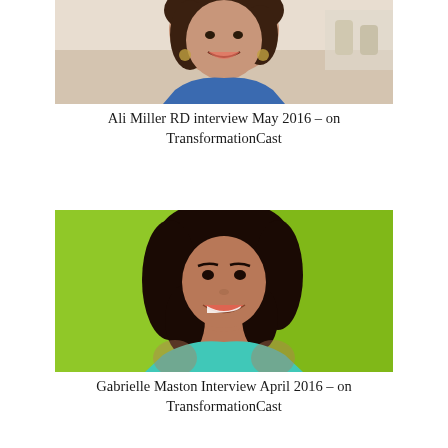[Figure (photo): Portrait photo of Ali Miller RD, a woman with curly brown hair, smiling, wearing a blue top, in a kitchen setting]
Ali Miller RD interview May 2016 – on TransformationCast
[Figure (photo): Portrait photo of Gabrielle Maston, a woman with long dark wavy hair, smiling, wearing a teal top, against a bright green background]
Gabrielle Maston Interview April 2016 – on TransformationCast